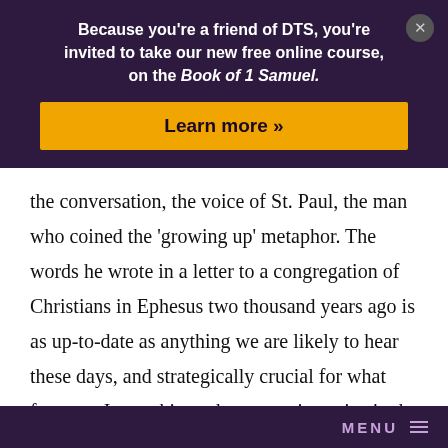Because you're a friend of DTS, you're invited to take our new free online course, on the Book of 1 Samuel.
Learn more »
the conversation, the voice of St. Paul, the man who coined the ‘growing up’ metaphor. The words he wrote in a letter to a congregation of Christians in Ephesus two thousand years ago is as up-to-date as anything we are likely to hear these days, and strategically crucial for what faces us. I want him to have a major voice in the conversation” (p. 8). As the conversation unfolds, Paul is the authoritative voice in the conversation. He is joined by Markus Barth, Wendell Berry, Martin Buber, Gregory of
MENU